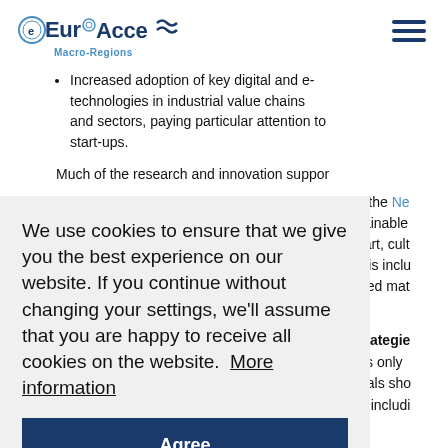EuroAccess Macro-Regions
Increased adoption of key digital and e-technologies in industrial value chains and sectors, paying particular attention to start-ups.
Much of the research and innovation support or the Ne stainable n art, cult This inclu nced mat strategies lies only osals sho by includi
We use cookies to ensure that we give you the best experience on our website. If you continue without changing your settings, we'll assume that you are happy to receive all cookies on the website. More information
Agree
case and exploitation strategy for industrialis